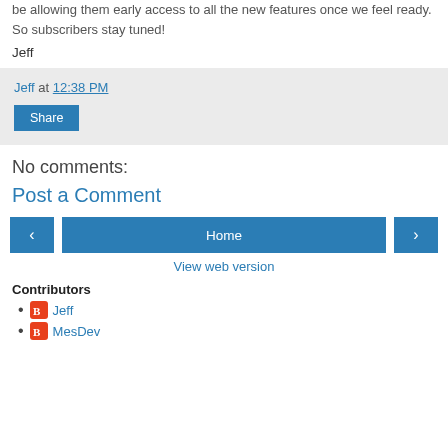be allowing them early access to all the new features once we feel ready. So subscribers stay tuned!
Jeff
Jeff at 12:38 PM
Share
No comments:
Post a Comment
Home
View web version
Contributors
Jeff
MesDev